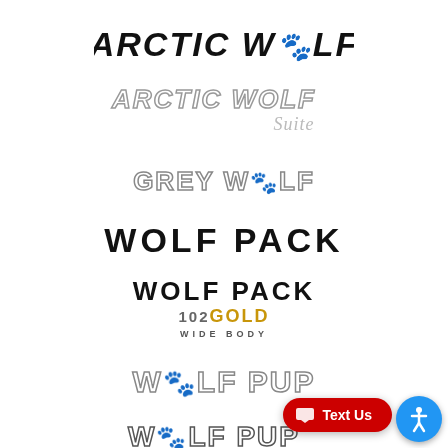[Figure (logo): Arctic Wolf logo - bold black italic uppercase text with paw print replacing letter O]
[Figure (logo): Arctic Wolf Suite logo - chrome/outline style italic uppercase text with Suite in light gray italic below]
[Figure (logo): Grey Wolf logo - chrome/outline style uppercase text with paw print replacing letter O]
[Figure (logo): Wolf Pack logo - solid black bold uppercase text]
[Figure (logo): Wolf Pack 102 Gold Wide Body logo - black bold top line, gold/brown middle line with 102GOLD, gray WIDE BODY text below]
[Figure (logo): Wolf Pup logo - chrome/outline style uppercase text with paw print replacing letter O]
[Figure (logo): Wolf Pup Black Label logo - dark outline style uppercase text with paw print, BLACK LABEL text below]